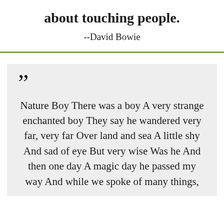about touching people.
--David Bowie
“” Nature Boy There was a boy A very strange enchanted boy They say he wandered very far, very far Over land and sea A little shy And sad of eye But very wise Was he And then one day A magic day he passed my way And while we spoke of many things,